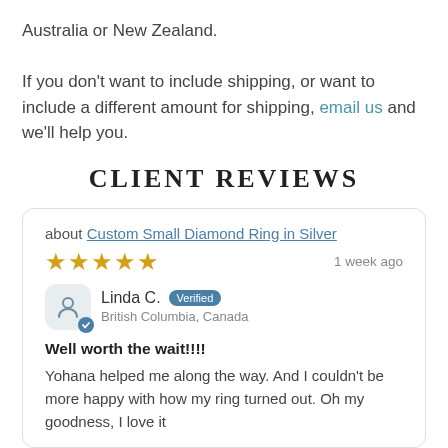Australia or New Zealand.
If you don't want to include shipping, or want to include a different amount for shipping, email us and we'll help you.
CLIENT REVIEWS
about Custom Small Diamond Ring in Silver
★★★★★  1 week ago
Linda C. Verified — British Columbia, Canada
Well worth the wait!!!!
Yohana helped me along the way. And I couldn't be more happy with how my ring turned out. Oh my goodness, I love it